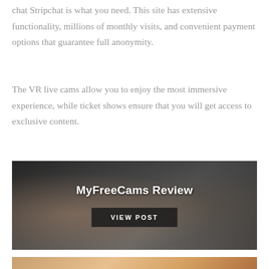chat Stripchat is what you need. This site has extensive functionality, millions of monthly visits, and convenient payment options that guarantee full anonymity.
The VR live cams allow you to enjoy the most immersive experience, while ticket shows ensure that you will get access to exclusive content.
[Figure (photo): Promotional card for MyFreeCams Review with dark photographic background, white bold title 'MyFreeCams Review' and a dark 'VIEW POST' button]
[Figure (photo): Partial view of another promotional card at the bottom of the page with warm-toned photographic background]